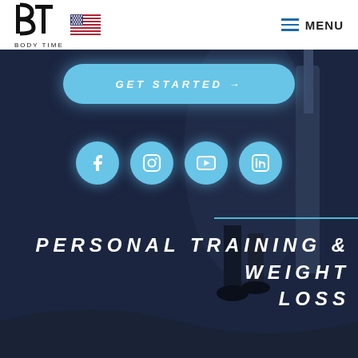[Figure (logo): Body Time logo with stylized BT letters and US flag icon]
MENU
[Figure (screenshot): Dark navy hero section with fitness person silhouette, GET STARTED button, social media icons (Facebook, Instagram, YouTube, LinkedIn), a cyan horizontal line, and text PERSONAL TRAINING & WEIGHT LOSS]
PERSONAL TRAINING & WEIGHT LOSS